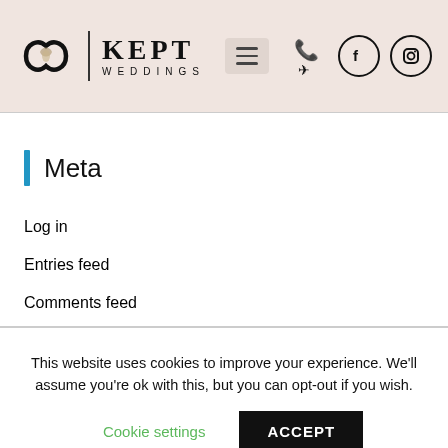[Figure (logo): Kept Weddings logo with interlocking rings icon and serif KEPT text with WEDDINGS subtitle]
Kept Weddings website header with menu button and social icons (phone/email, Facebook, Instagram)
Meta
Log in
Entries feed
Comments feed
WordPress.org
This website uses cookies to improve your experience. We'll assume you're ok with this, but you can opt-out if you wish.
Cookie settings  ACCEPT